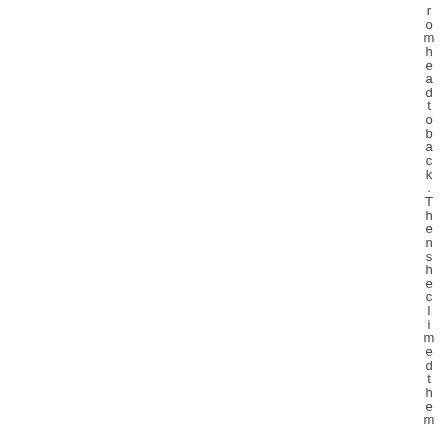rom head to back. Then she climbed them